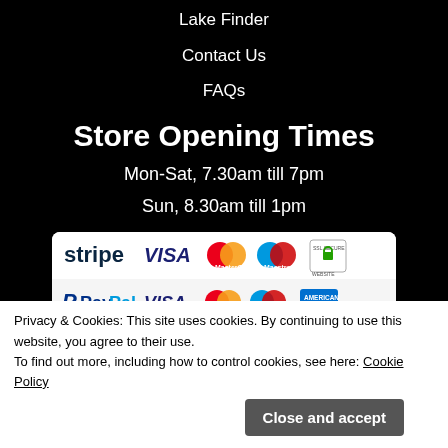Lake Finder
Contact Us
FAQs
Store Opening Times
Mon-Sat, 7.30am till 7pm
Sun, 8.30am till 1pm
[Figure (other): Payment methods banner showing Stripe, VISA, MasterCard, Maestro, SSL Secure Website, PayPal, VISA, MasterCard, Maestro, American Express logos]
Privacy & Cookies: This site uses cookies. By continuing to use this website, you agree to their use.
To find out more, including how to control cookies, see here: Cookie Policy